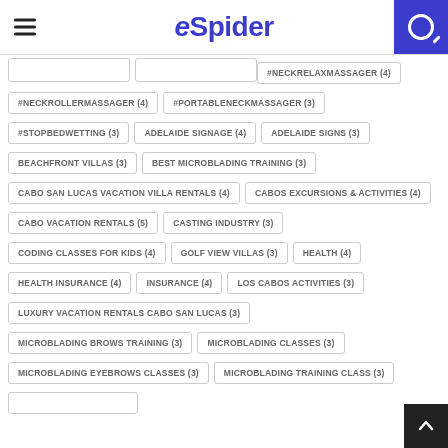eSpider
#NECKRELAXMASSAGER (4)
#NECKROLLERMASSAGER (4)
#PORTABLENECKMASSAGER (3)
#STOPBEDWETTING (3)
ADELAIDE SIGNAGE (4)
ADELAIDE SIGNS (3)
BEACHFRONT VILLAS (3)
BEST MICROBLADING TRAINING (3)
CABO SAN LUCAS VACATION VILLA RENTALS (4)
CABOS EXCURSIONS & ACTIVITIES (4)
CABO VACATION RENTALS (5)
CASTING INDUSTRY (3)
CODING CLASSES FOR KIDS (4)
GOLF VIEW VILLAS (3)
HEALTH (4)
HEALTH INSURANCE (4)
INSURANCE (4)
LOS CABOS ACTIVITIES (3)
LUXURY VACATION RENTALS CABO SAN LUCAS (3)
MICROBLADING BROWS TRAINING (3)
MICROBLADING CLASSES (3)
MICROBLADING EYEBROWS CLASSES (3)
MICROBLADING TRAINING CLASS (3)